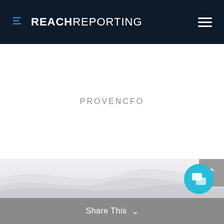REACH REPORTING
PROVENCFO
[Figure (illustration): Wave-shaped decorative background area with light gray gradient]
Share This